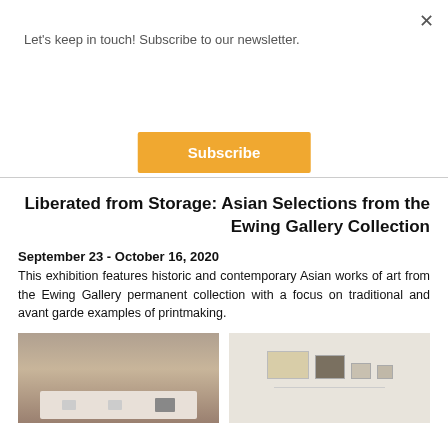Let's keep in touch! Subscribe to our newsletter.
Subscribe
Liberated from Storage: Asian Selections from the Ewing Gallery Collection
September 23 - October 16, 2020
This exhibition features historic and contemporary Asian works of art from the Ewing Gallery permanent collection with a focus on traditional and avant garde examples of printmaking.
[Figure (photo): Gallery interior showing a white display table with small objects/artifacts on it, dimly lit room with brown tones]
[Figure (photo): Gallery interior showing three artworks hung on white wall: a large beige/cream framed piece, a dark textured piece, and smaller works; white pedestal table in foreground]